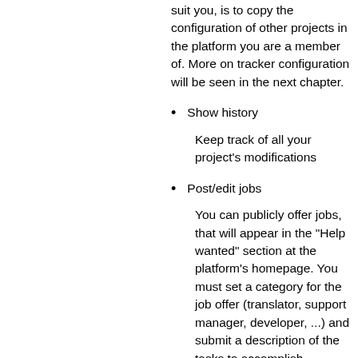suit you, is to copy the configuration of other projects in the platform you are a member of. More on tracker configuration will be seen in the next chapter.
Show history
Keep track of all your project's modifications
Post/edit jobs
You can publicly offer jobs, that will appear in the "Help wanted" section at the platform's homepage. You must set a category for the job offer (translator, support manager, developer, ...) and submit a description of the tasks to accomplish.
Mailing lists